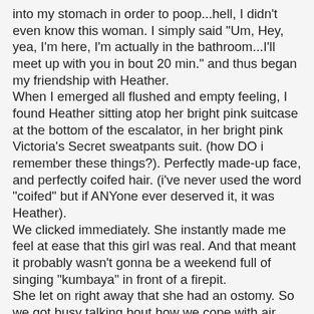into my stomach in order to poop...hell, I didn't even know this woman. I simply said "Um, Hey, yea, I'm here, I'm actually in the bathroom...I'll meet up with you in bout 20 min." and thus began my friendship with Heather. When I emerged all flushed and empty feeling, I found Heather sitting atop her bright pink suitcase at the bottom of the escalator, in her bright pink Victoria's Secret sweatpants suit. (how DO i remember these things?). Perfectly made-up face, and perfectly coifed hair. (i've never used the word "coifed" but if ANYone ever deserved it, it was Heather). We clicked immediately. She instantly made me feel at ease that this girl was real. And that meant it probably wasn't gonna be a weekend full of singing "kumbaya" in front of a firepit. She let on right away that she had an ostomy. So we got busy talking bout how we cope with air travel and an ostomy. We sat and drank coffee and made fun of the absurdly athletically-fit, super-toned and tan woman that randomly kept passing by our little table. (come to find out later that woman was another fellow colondar model. But at the time, Heather and I, both decidedly NOT as in shape, busied ourselves with being catty about her).